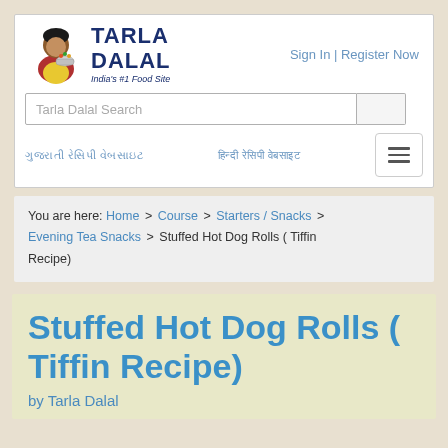Tarla Dalal — India's #1 Food Site | Sign In | Register Now
Tarla Dalal Search
[navigation links in Gujarati/Hindi]
You are here: Home > Course > Starters / Snacks > Evening Tea Snacks > Stuffed Hot Dog Rolls ( Tiffin Recipe)
Stuffed Hot Dog Rolls ( Tiffin Recipe)
by Tarla Dalal